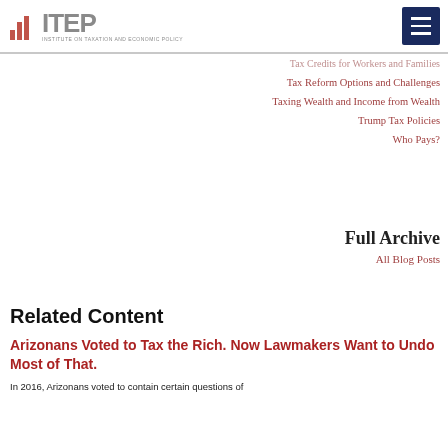ITEP - Institute on Taxation and Economic Policy
Tax Credits for Workers and Families
Tax Reform Options and Challenges
Taxing Wealth and Income from Wealth
Trump Tax Policies
Who Pays?
Full Archive
All Blog Posts
Related Content
Arizonans Voted to Tax the Rich. Now Lawmakers Want to Undo Most of That.
In 2016, Arizonans voted to contain certain questions of...